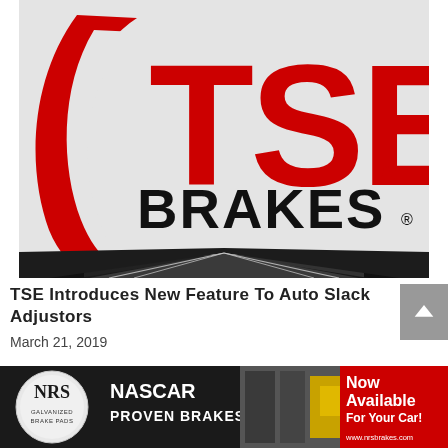[Figure (logo): TSE Brakes logo: bold red stylized TSE letters with a curved red arc/swoosh on the left, and the word BRAKES in large black bold text below, with a registered trademark symbol. Below the text logo is a black geometric shape resembling converging road lines/speedway.]
TSE Introduces New Feature To Auto Slack Adjustors
March 21, 2019
[Figure (illustration): NRS Galvanized Brake Pads advertisement banner. Shows the NRS logo (circular badge on left), NASCAR PROVEN BRAKES text in center, photo of brake components and a NASCAR racing car in background, and 'Now Available For Your Car!' text with www.nrsbrakes.com website on right side on red background.]